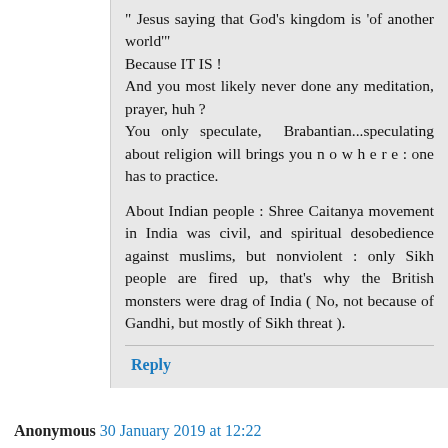" Jesus saying that God's kingdom is 'of another world"'
Because IT IS !
And you most likely never done any meditation, prayer, huh ?
You only speculate, Brabantian...speculating about religion will brings you n o w h e r e : one has to practice.

About Indian people : Shree Caitanya movement in India was civil, and spiritual desobedience against muslims, but nonviolent : only Sikh people are fired up, that's why the British monsters were drag of India ( No, not because of Gandhi, but mostly of Sikh threat ).
Reply
Anonymous 30 January 2019 at 12:22
"You are what your deepest desire is. As is your desire, so